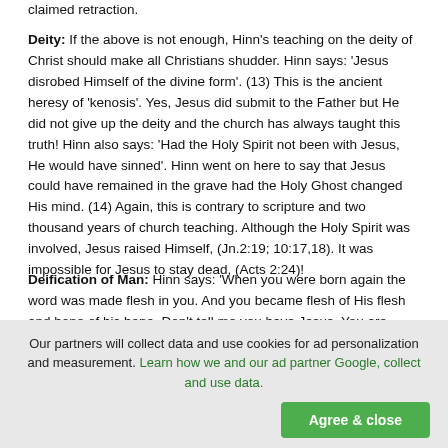claimed retraction.
Deity: If the above is not enough, Hinn's teaching on the deity of Christ should make all Christians shudder. Hinn says: 'Jesus disrobed Himself of the divine form'. (13) This is the ancient heresy of 'kenosis'. Yes, Jesus did submit to the Father but He did not give up the deity and the church has always taught this truth! Hinn also says: 'Had the Holy Spirit not been with Jesus, He would have sinned'. Hinn went on here to say that Jesus could have remained in the grave had the Holy Ghost changed His mind. (14) Again, this is contrary to scripture and two thousand years of church teaching. Although the Holy Spirit was involved, Jesus raised Himself, (Jn.2:19; 10:17,18). It was impossible for Jesus to stay dead, (Acts 2:24)!
Deification of Man: Hinn says: 'When you were born again the word was made flesh in you. And you became flesh of His flesh and bone of his bone. Don't tell me you have Jesus. You are everything He is and ever shall be...It [the new man] says, 'I
Our partners will collect data and use cookies for ad personalization and measurement. Learn how we and our ad partner Google, collect and use data.
Agree & close